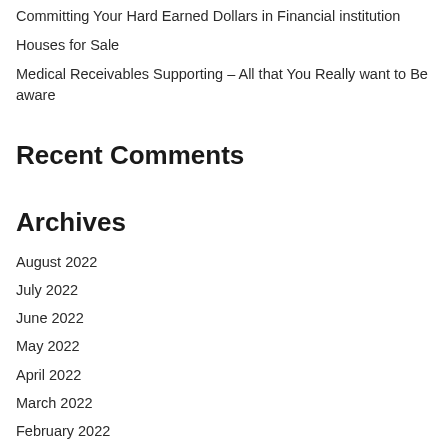Committing Your Hard Earned Dollars in Financial institution
Houses for Sale
Medical Receivables Supporting – All that You Really want to Be aware
Recent Comments
Archives
August 2022
July 2022
June 2022
May 2022
April 2022
March 2022
February 2022
January 2022
December 2021